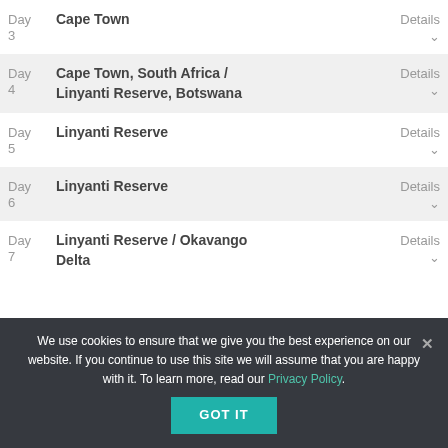Day 3 | Cape Town | Details
Day 4 | Cape Town, South Africa / Linyanti Reserve, Botswana | Details
Day 5 | Linyanti Reserve | Details
Day 6 | Linyanti Reserve | Details
Day 7 | Linyanti Reserve / Okavango Delta | Details
We use cookies to ensure that we give you the best experience on our website. If you continue to use this site we will assume that you are happy with it. To learn more, read our Privacy Policy.